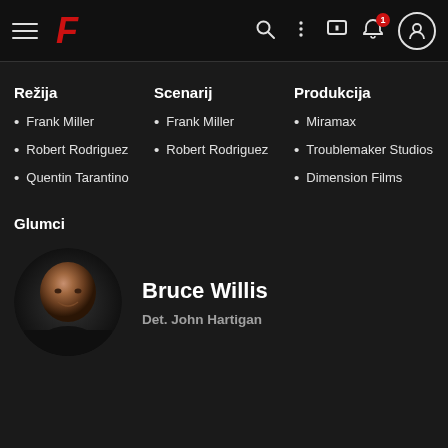F (logo) navigation bar with hamburger, search, more, chat, notification (1), profile icons
Režija
Frank Miller
Robert Rodriguez
Quentin Tarantino
Scenarij
Frank Miller
Robert Rodriguez
Produkcija
Miramax
Troublemaker Studios
Dimension Films
Glumci
[Figure (photo): Circular headshot photo of Bruce Willis, smiling, wearing dark clothing]
Bruce Willis
Det. John Hartigan